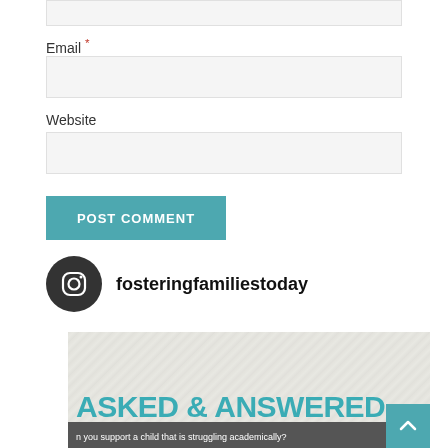[Figure (screenshot): Top input field (partial, cropped at top of page)]
Email *
[Figure (screenshot): Email input text field]
Website
[Figure (screenshot): Website input text field]
POST COMMENT
fosteringfamiliestoday
[Figure (infographic): Social media post preview showing 'ASKED & ANSWERED' header in teal and partial subtitle text about supporting a child struggling academically]